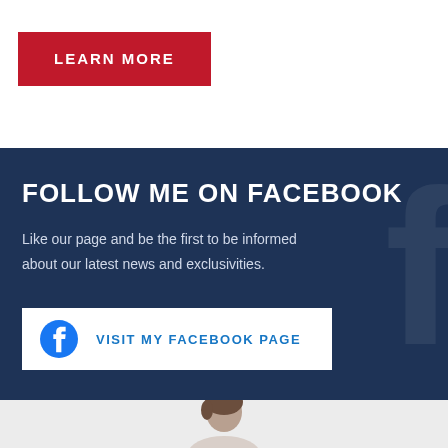LEARN MORE
FOLLOW ME ON FACEBOOK
Like our page and be the first to be informed about our latest news and exclusivities.
VISIT MY FACEBOOK PAGE
[Figure (photo): Partial view of a person's head at the bottom of the page]